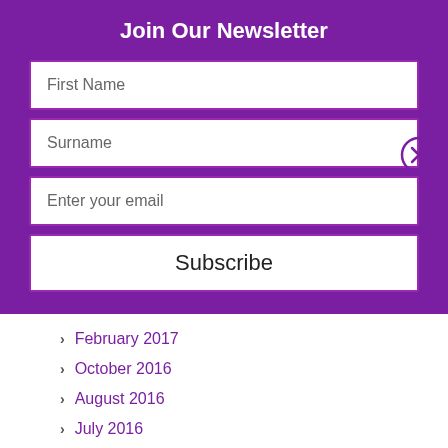Join Our Newsletter
First Name
Surname
Enter your email
Subscribe
February 2017
October 2016
August 2016
July 2016
February 2016
January 2016
November 2015
October 2015
CATEGORIES